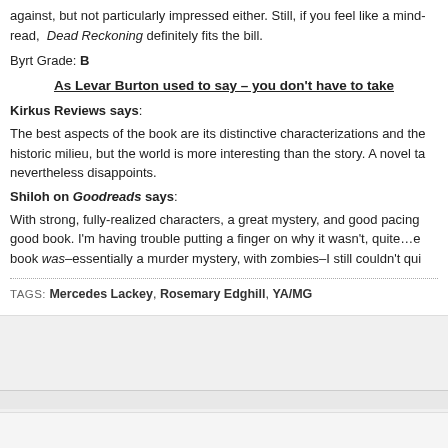against, but not particularly impressed either. Still, if you feel like a mind-read, Dead Reckoning definitely fits the bill.
Byrt Grade: B
As Levar Burton used to say – you don't have to take
Kirkus Reviews says:
The best aspects of the book are its distinctive characterizations and the historic milieu, but the world is more interesting than the story. A novel that nevertheless disappoints.
Shiloh on Goodreads says:
With strong, fully-realized characters, a great mystery, and good pacing good book. I'm having trouble putting it on why it wasn't, quite…e book was–essentially a murder mystery, with zombies–I still couldn't qui
TAGS: Mercedes Lackey, Rosemary Edghill, YA/MG